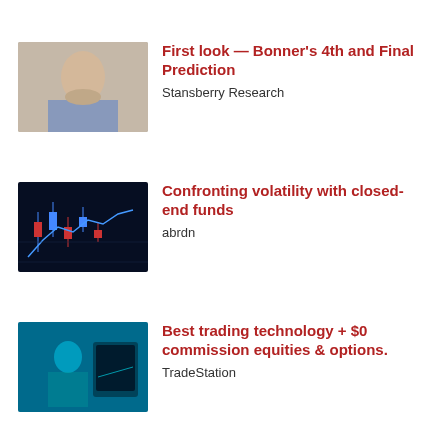[Figure (photo): Thumbnail of an older man in a blue shirt against a blurred background — Stansberry Research ad]
First look — Bonner's 4th and Final Prediction
Stansberry Research
[Figure (photo): Dark blue financial chart showing candlestick and line graph — abrdn ad]
Confronting volatility with closed-end funds
abrdn
[Figure (photo): Teal-tinted image of a person at a trading desk — TradeStation ad]
Best trading technology + $0 commission equities & options.
TradeStation
[Figure (photo): Dark blue image of trading screens — FOREX.com ad]
FOREX.com helps you elevate your trading. FX trading is risky.
FOREX.com